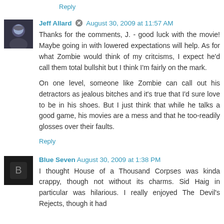Reply
Jeff Allard  August 30, 2009 at 11:57 AM
Thanks for the comments, J. - good luck with the movie! Maybe going in with lowered expectations will help. As for what Zombie would think of my critcisms, I expect he'd call them total bullshit but I think I'm fairly on the mark.

On one level, someone like Zombie can call out his detractors as jealous bitches and it's true that I'd sure love to be in his shoes. But I just think that while he talks a good game, his movies are a mess and that he too-readily glosses over their faults.
Reply
Blue Seven  August 30, 2009 at 1:38 PM
I thought House of a Thousand Corpses was kinda crappy, though not without its charms. Sid Haig in particular was hilarious. I really enjoyed The Devil's Rejects, though it had